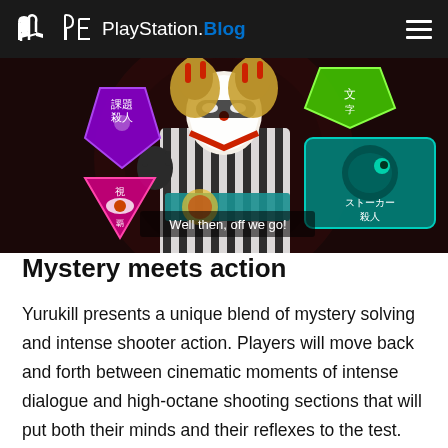PlayStation.Blog
[Figure (screenshot): Yurukill game screenshot showing a stylized Japanese character in a white and black striped kimono with white face paint, surrounded by colorful Japanese text badges including purple, pink, and teal designs. A subtitle reads 'Well then, off we go!']
Mystery meets action
Yurukill presents a unique blend of mystery solving and intense shooter action. Players will move back and forth between cinematic moments of intense dialogue and high-octane shooting sections that will put both their minds and their reflexes to the test. Though each stage